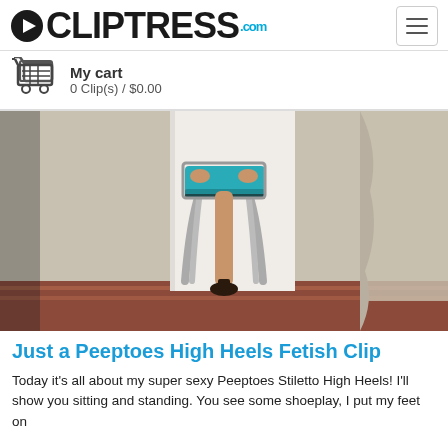CLIPTRESS.com
My cart
0 Clip(s) / $0.00
[Figure (photo): Photo of a woman sitting on an ornate silver chair wearing a teal skirt and black peeptoe stiletto high heels on a patterned rug]
Just a Peeptoes High Heels Fetish Clip
Today it's all about my super sexy Peeptoes Stiletto High Heels! I'll show you sitting and standing. You see some shoeplay, I put my feet on